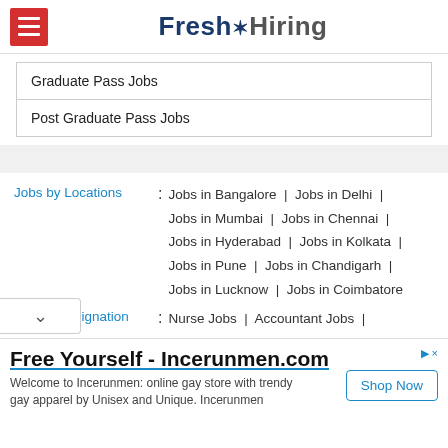Fresh Hiring
Graduate Pass Jobs
Post Graduate Pass Jobs
Jobs by Locations : Jobs in Bangalore | Jobs in Delhi | Jobs in Mumbai | Jobs in Chennai | Jobs in Hyderabad | Jobs in Kolkata | Jobs in Pune | Jobs in Chandigarh | Jobs in Lucknow | Jobs in Coimbatore
Job by Designation : Nurse Jobs | Accountant Jobs | Clerk Jobs | Air Hostess Jobs | Assistant Manager Jobs | Driver Jobs |
Free Yourself - Incerunmen.com
Welcome to Incerunmen: online gay store with trendy gay apparel by Unisex and Unique. Incerunmen